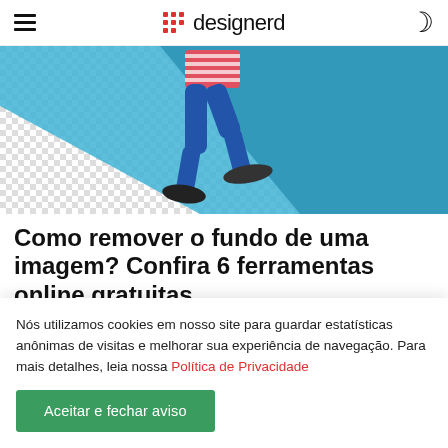designerd
[Figure (photo): Person running in jeans and striped shirt, photographed from waist down, on a blue and checkered background — background removal illustration.]
Como remover o fundo de uma imagem? Confira 6 ferramentas online gratuitas
Nós utilizamos cookies em nosso site para guardar estatísticas anônimas de visitas e melhorar sua experiência de navegação. Para mais detalhes, leia nossa Política de Privacidade
Aceitar e fechar aviso